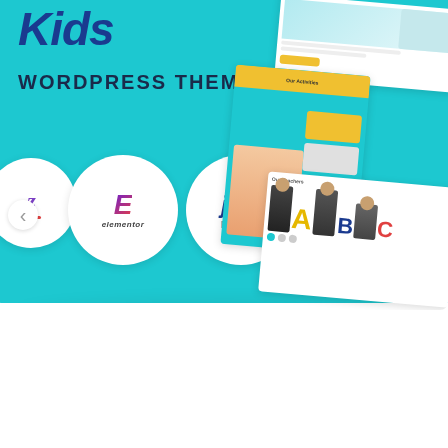[Figure (screenshot): Kids WordPress Theme promotional banner with teal/cyan background showing the theme logo 'Kids' in bold blue italic text, 'WORDPRESS THEME' subtitle, three white circular badges showing plugin logos (custom, Elementor, Jet Plugins), navigation arrows, and right-side screenshots of the theme in use featuring a child with glasses, teacher section with ABC letters, and website UI mockups.]